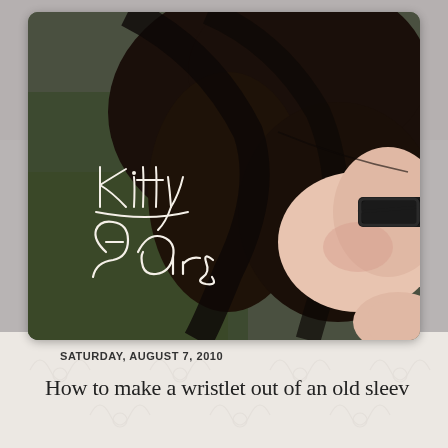[Figure (photo): Blog header photo showing a close-up of a young woman with dark hair and glasses, with 'Kitty Ears' written in cursive script overlay. Background shows grass/outdoor setting.]
SATURDAY, AUGUST 7, 2010
How to make a wristlet out of an old sleev